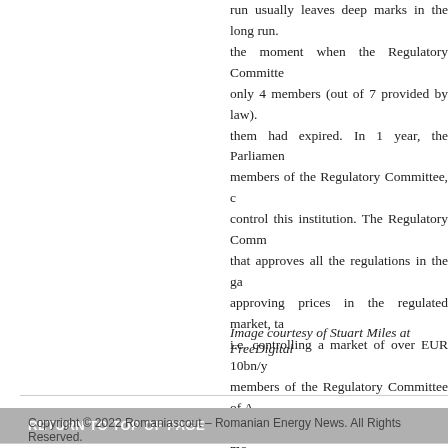run usually leaves deep marks in the long run. the moment when the Regulatory Committee only 4 members (out of 7 provided by law). them had expired. In 1 year, the Parliament members of the Regulatory Committee, control this institution. The Regulatory Comm that approves all the regulations in the ga approving prices in the regulated market, ta i.e. controlling a market of over EUR 10bn/y members of the Regulatory Committee of A interest to consumers and interest for mo elected officials. The list could continue, bu die, too little to live (Romanian proverb).
Image courtesy of Stuart Miles at FreeDigital
RETURN TO TOP OF PAGE
Copyright © 2022 Romaniascout – Romanian Energy News. All Rights Reserved.